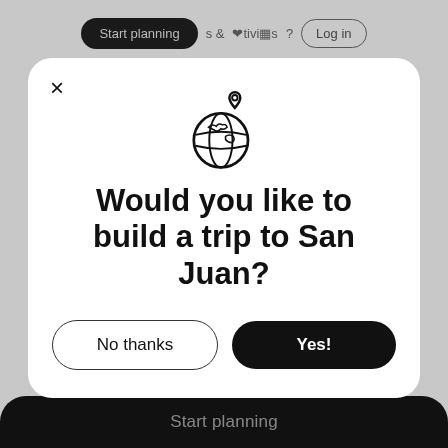Start planning & Activities ? Log in
[Figure (screenshot): Modal dialog on a travel website with a globe icon with location pin, asking 'Would you like to build a trip to San Juan?' with 'No thanks' and 'Yes!' buttons]
Would you like to build a trip to San Juan?
No thanks
Yes!
Start planning